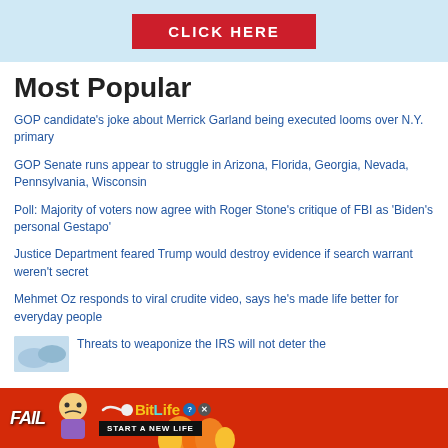[Figure (other): Banner advertisement with light blue background and red CLICK HERE button]
Most Popular
GOP candidate's joke about Merrick Garland being executed looms over N.Y. primary
GOP Senate runs appear to struggle in Arizona, Florida, Georgia, Nevada, Pennsylvania, Wisconsin
Poll: Majority of voters now agree with Roger Stone's critique of FBI as 'Biden's personal Gestapo'
Justice Department feared Trump would destroy evidence if search warrant weren't secret
Mehmet Oz responds to viral crudite video, says he's made life better for everyday people
Threats to weaponize the IRS will not deter the
[Figure (other): BitLife game advertisement with red background, FAIL text, cartoon character, flames, and START A NEW LIFE text]